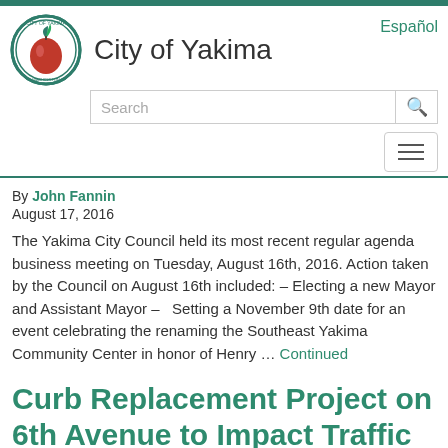[Figure (logo): City of Yakima circular seal/logo with red apple and green leaves]
City of Yakima
Español
Search
By John Fannin
August 17, 2016
The Yakima City Council held its most recent regular agenda business meeting on Tuesday, August 16th, 2016. Action taken by the Council on August 16th included: – Electing a new Mayor and Assistant Mayor –   Setting a November 9th date for an event celebrating the renaming the Southeast Yakima Community Center in honor of Henry … Continued
Curb Replacement Project on 6th Avenue to Impact Traffic